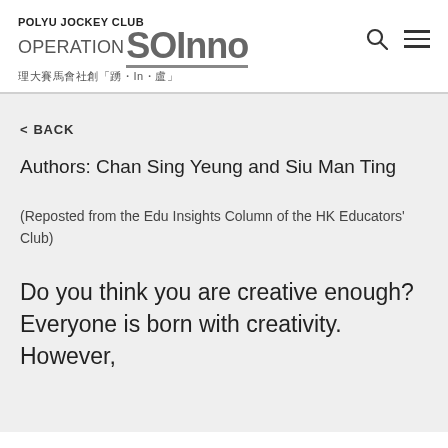POLYU JOCKEY CLUB OPERATION SOINNO 理大賽馬會社創「踴·In·盧」
< BACK
Authors: Chan Sing Yeung and Siu Man Ting
(Reposted from the Edu Insights Column of the HK Educators' Club)
Do you think you are creative enough? Everyone is born with creativity. However,